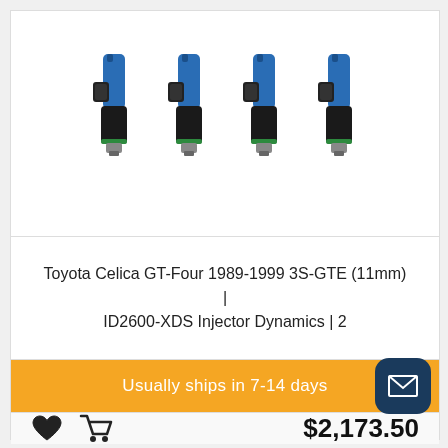[Figure (photo): Four blue and black fuel injectors (ID2600-XDS Injector Dynamics) arranged in a row on a white background]
Toyota Celica GT-Four 1989-1999 3S-GTE (11mm) | ID2600-XDS Injector Dynamics | 2
Usually ships in 7-14 days
$2,173.50